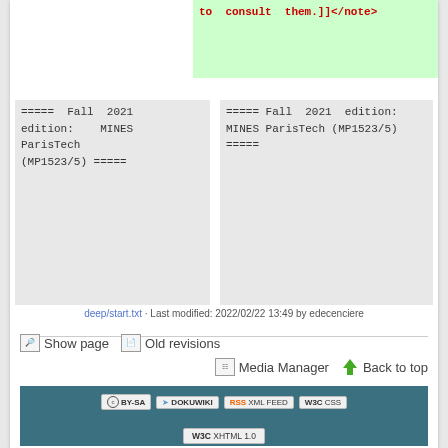to consult them.]]</note>
===== Fall 2021 edition: MINES ParisTech (MP1523/5) =====
===== Fall 2021 edition: MINES ParisTech (MP1523/5) =====
deep/start.txt · Last modified: 2022/02/22 13:49 by edecenciere
Show page
Old revisions
Media Manager
Back to top
CC BY-SA DOKUWIKI RSS XML FEED W3C CSS W3C XHTML 1.0